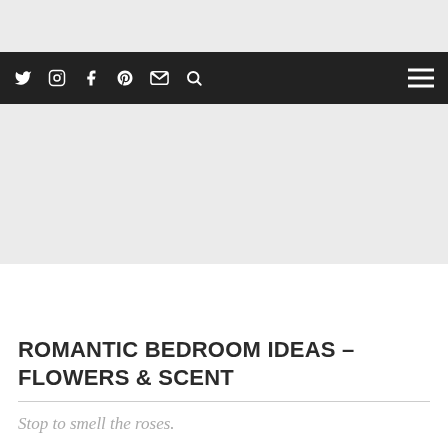[Figure (screenshot): Dark navigation bar with social media icons (Twitter, Instagram, Facebook, Pinterest, Email, Search) on the left and a hamburger menu on the right, on a black background. Above it is a light gray bar.]
ROMANTIC BEDROOM IDEAS – FLOWERS & SCENT
Stop to smell the roses.